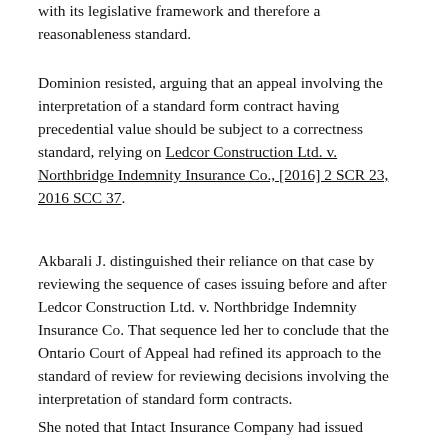with its legislative framework and therefore a reasonableness standard.
Dominion resisted, arguing that an appeal involving the interpretation of a standard form contract having precedential value should be subject to a correctness standard, relying on Ledcor Construction Ltd. v. Northbridge Indemnity Insurance Co., [2016] 2 SCR 23, 2016 SCC 37.
Akbarali J. distinguished their reliance on that case by reviewing the sequence of cases issuing before and after Ledcor Construction Ltd. v. Northbridge Indemnity Insurance Co. That sequence led her to conclude that the Ontario Court of Appeal had refined its approach to the standard of review for reviewing decisions involving the interpretation of standard form contracts.
She noted that Intact Insurance Company had issued